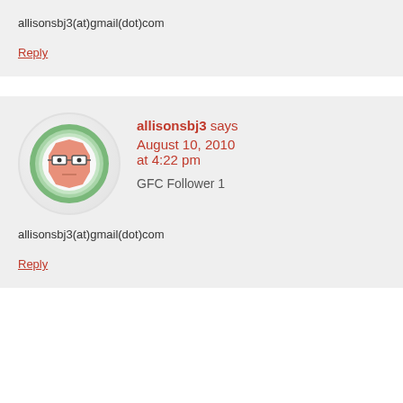allisonsbj3(at)gmail(dot)com
Reply
[Figure (illustration): Round avatar icon with a cartoon face wearing glasses on a green circular background]
allisonsbj3 says August 10, 2010 at 4:22 pm
GFC Follower 1
allisonsbj3(at)gmail(dot)com
Reply